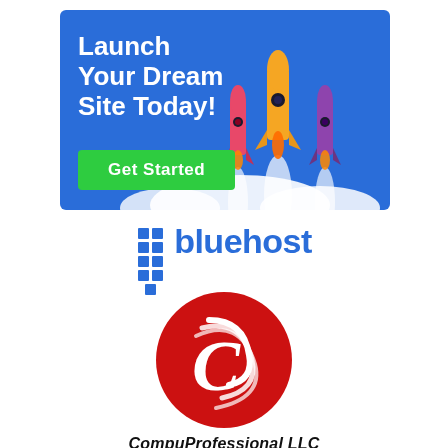[Figure (illustration): Bluehost advertisement banner with blue background, text 'Launch Your Dream Site Today!', green 'Get Started' button, and three rocket illustrations with white smoke trails]
[Figure (logo): Bluehost logo: blue grid of 9 squares followed by the word 'bluehost' in bold blue text]
[Figure (logo): CompuProfessional LLC logo: red circle with white swirl/wifi-like marks and a white italic 'C' letter in the center]
CompuProfessional LLC
Website Development that you can trust